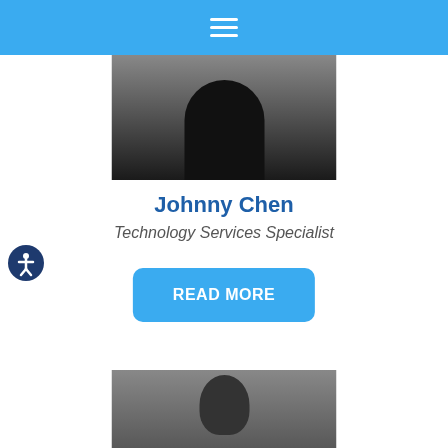Navigation menu
[Figure (photo): Partial headshot/silhouette photo of Johnny Chen, showing shoulders and neck area against grey background, upper portion of profile card]
Johnny Chen
Technology Services Specialist
READ MORE
[Figure (photo): Partial headshot of a second person, top of head visible against grey background, bottom of page]